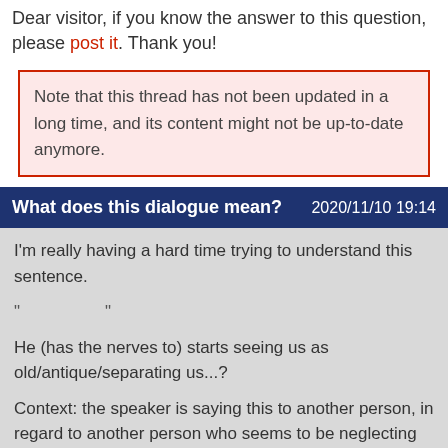Dear visitor, if you know the answer to this question, please post it. Thank you!
Note that this thread has not been updated in a long time, and its content might not be up-to-date anymore.
What does this dialogue mean? 2020/11/10 19:14
I'm really having a hard time trying to understand this sentence.

"　　　　　"

He (has the nerves to) starts seeing us as old/antique/separating us...?

Context: the speaker is saying this to another person, in regard to another person who seems to be neglecting them.